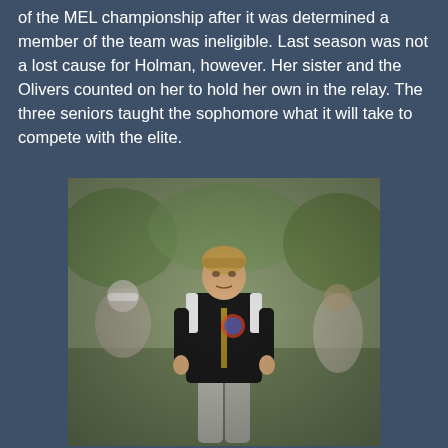of the MEL championship after it was determined a member of the team was ineligible. Last season was not a lost cause for Holman, however. Her sister and the Olivers counted on her to hold her own in the relay. The three seniors taught the sophomore what it will take to compete with the elite.
[Figure (photo): A young female athlete wearing a black Nike zip-up jacket with a team logo and gray sweatpants walking on a grass field. Other people are blurred in the background.]